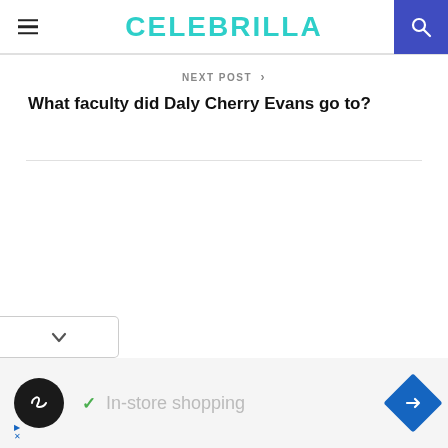CELEBRILLA
NEXT POST >
What faculty did Daly Cherry Evans go to?
[Figure (screenshot): Advertisement strip with black circular icon with infinity-like logo, checkmark, 'In-store shopping' text, and blue diamond navigation icon]